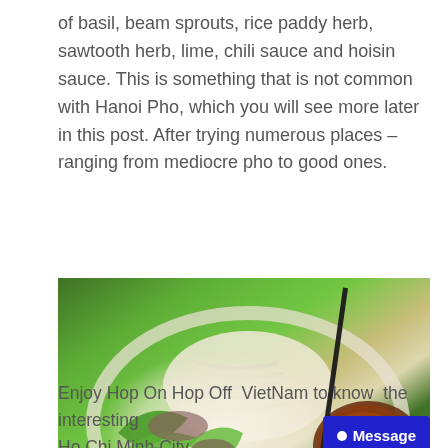of basil, beam sprouts, rice paddy herb, sawtooth herb, lime, chili sauce and hoisin sauce. This is something that is not common with Hanoi Pho, which you will see more later in this post. After trying numerous places – ranging from mediocre pho to good ones.
[Figure (photo): A bowl of Vietnamese pho soup with noodles, green herbs, bean sprouts, meat slices, and a small side bowl of dipping sauce with chopsticks on a metal table.]
Enjoy Hop On Hop Off  VietNam to know  the interesting Ho Chi Minh City